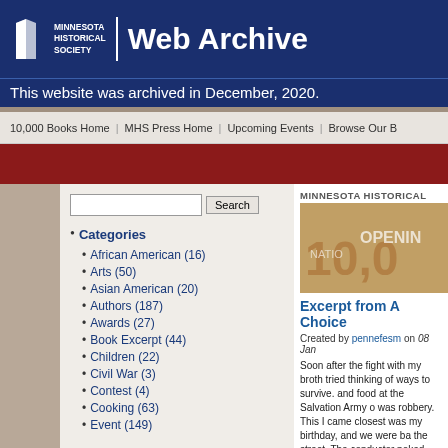MINNESOTA HISTORICAL SOCIETY | Web Archive
This website was archived in December, 2020.
10,000 Books Home | MHS Press Home | Upcoming Events | Browse Our B
MINNESOTA HISTORICAL
Categories
African American (16)
Arts (50)
Asian American (20)
Authors (187)
Awards (27)
Book Excerpt (44)
Children (22)
Civil War (3)
Contest (4)
Cooking (63)
Event (149)
Excerpt from A Choice
Created by pennefesm on 08 Jan
Soon after the fight with my broth tried thinking of ways to survive. and food at the Salvation Army o was robbery. This I came closest was my birthday, and we were ba the street. The conductor poked me, with a bundle of green bills.